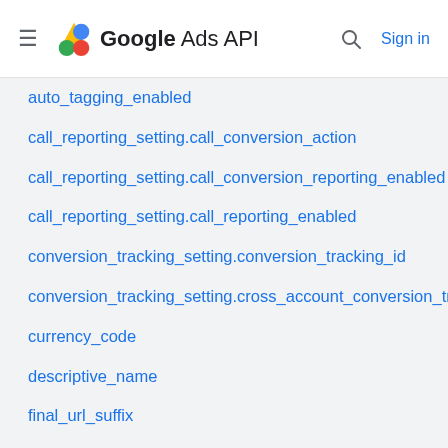Google Ads API
auto_tagging_enabled
call_reporting_setting.call_conversion_action
call_reporting_setting.call_conversion_reporting_enabled
call_reporting_setting.call_reporting_enabled
conversion_tracking_setting.conversion_tracking_id
conversion_tracking_setting.cross_account_conversion_tracking_id
currency_code
descriptive_name
final_url_suffix
has_partners_badge
id
manager
optimization_score
optimization_score_weight
pay_per_conversion_eligibility_failure_reasons
remarketing_setting.google_global_site_tag
resource_name